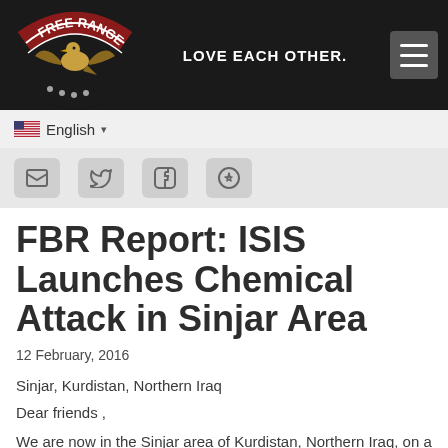[Figure (logo): Free Ranger Burma logo — circular patch with eagle and red arc banner with white text]
LOVE EACH OTHER.
English
FBR Report: ISIS Launches Chemical Attack in Sinjar Area
12 February, 2016
Sinjar, Kurdistan, Northern Iraq
Dear friends ,
We are now in the Sinjar area of Kurdistan, Northern Iraq, on a relief